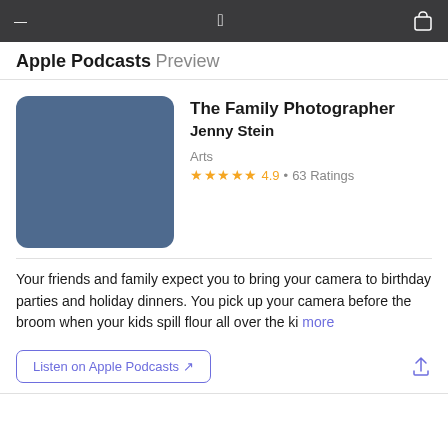Apple Podcasts Preview
The Family Photographer
Jenny Stein
Arts
★★★★★ 4.9 • 63 Ratings
[Figure (illustration): Podcast artwork: solid blue-grey square with rounded corners representing The Family Photographer podcast thumbnail]
Your friends and family expect you to bring your camera to birthday parties and holiday dinners. You pick up your camera before the broom when your kids spill flour all over the ki more
Listen on Apple Podcasts ↗